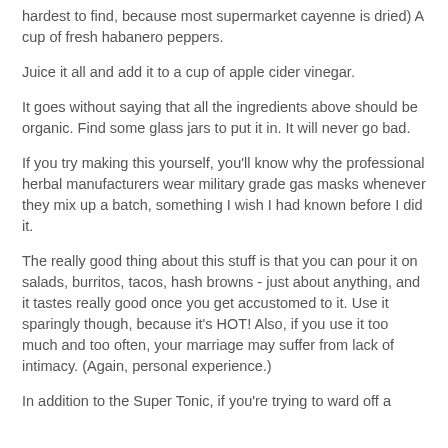hardest to find, because most supermarket cayenne is dried) A cup of fresh habanero peppers.
Juice it all and add it to a cup of apple cider vinegar.
It goes without saying that all the ingredients above should be organic. Find some glass jars to put it in. It will never go bad.
If you try making this yourself, you'll know why the professional herbal manufacturers wear military grade gas masks whenever they mix up a batch, something I wish I had known before I did it.
The really good thing about this stuff is that you can pour it on salads, burritos, tacos, hash browns - just about anything, and it tastes really good once you get accustomed to it. Use it sparingly though, because it's HOT! Also, if you use it too much and too often, your marriage may suffer from lack of intimacy. (Again, personal experience.)
In addition to the Super Tonic, if you're trying to ward off a